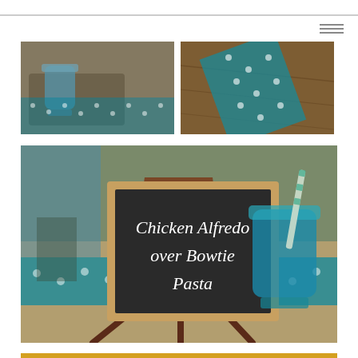[Figure (photo): Top-left photo: teal/blue mason jar on a wooden tray with a teal polka-dot table runner in the background]
[Figure (photo): Top-right photo: close-up of a teal polka-dot fabric table runner on a dark wood surface]
[Figure (photo): Middle photo: chalkboard sign on a wooden easel reading 'Chicken Alfredo over Bowtie Pasta', with a blue mason jar holding a striped straw to the right, on a burlap and teal polka-dot table setting]
[Figure (photo): Bottom photo: partially visible sunflower with yellow petals against a blue background]